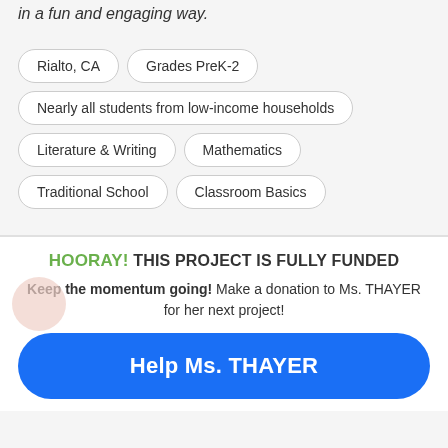in a fun and engaging way.
Rialto, CA
Grades PreK-2
Nearly all students from low-income households
Literature & Writing
Mathematics
Traditional School
Classroom Basics
HOORAY! THIS PROJECT IS FULLY FUNDED
Keep the momentum going! Make a donation to Ms. THAYER for her next project!
Help Ms. THAYER